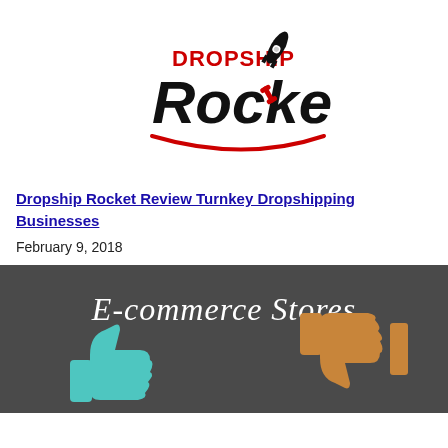[Figure (logo): Dropship Rocket logo with rocket icon and red/black text]
Dropship Rocket Review Turnkey Dropshipping Businesses
February 9, 2018
[Figure (illustration): Banner image showing E-commerce Stores text with thumbs up and thumbs down icons on dark background]